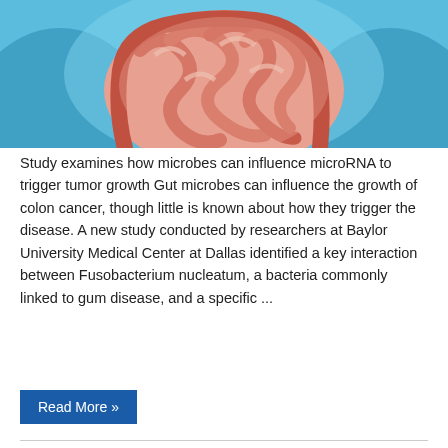[Figure (illustration): Medical illustration of human intestines/colon shown in pink/red tones against a blue anatomical background highlighting the digestive system]
Study examines how microbes can influence microRNA to trigger tumor growth Gut microbes can influence the growth of colon cancer, though little is known about how they trigger the disease. A new study conducted by researchers at Baylor University Medical Center at Dallas identified a key interaction between Fusobacterium nucleatum, a bacteria commonly linked to gum disease, and a specific ...
Read More »
Study establishes the first public collection of